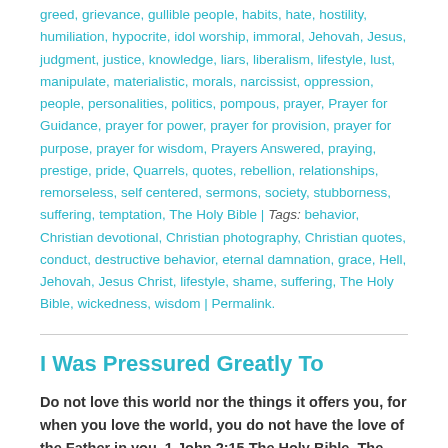greed, grievance, gullible people, habits, hate, hostility, humiliation, hypocrite, idol worship, immoral, Jehovah, Jesus, judgment, justice, knowledge, liars, liberalism, lifestyle, lust, manipulate, materialistic, morals, narcissist, oppression, people, personalities, politics, pompous, prayer, Prayer for Guidance, prayer for power, prayer for provision, prayer for purpose, prayer for wisdom, Prayers Answered, praying, prestige, pride, Quarrels, quotes, rebellion, relationships, remorseless, self centered, sermons, society, stubborness, suffering, temptation, The Holy Bible | Tags: behavior, Christian devotional, Christian photography, Christian quotes, conduct, destructive behavior, eternal damnation, grace, Hell, Jehovah, Jesus Christ, lifestyle, shame, suffering, The Holy Bible, wickedness, wisdom | Permalink.
I Was Pressured Greatly To
Do not love this world nor the things it offers you, for when you love the world, you do not have the love of the Father in you. 1 John 2:15 The Holy Bible, The New Living Translation
Being a bit of an old geezer, I have seen oh so many